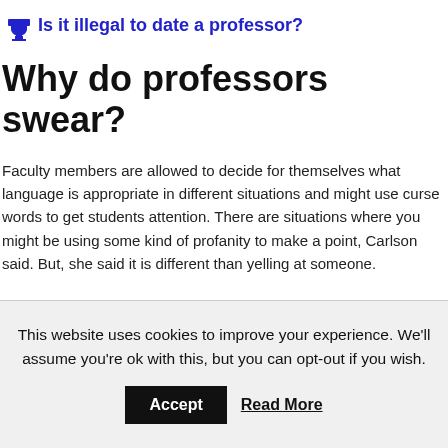Is it illegal to date a professor?
Why do professors swear?
Faculty members are allowed to decide for themselves what language is appropriate in different situations and might use curse words to get students attention. There are situations where you might be using some kind of profanity to make a point, Carlson said. But, she said it is different than yelling at someone.
This website uses cookies to improve your experience. We'll assume you're ok with this, but you can opt-out if you wish.
Accept   Read More